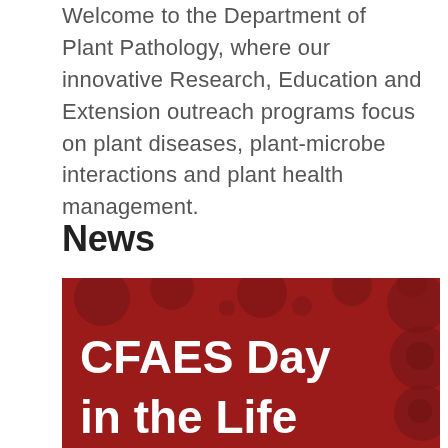Welcome to the Department of Plant Pathology, where our innovative Research, Education and Extension outreach programs focus on plant diseases, plant-microbe interactions and plant health management.
News
[Figure (photo): Red promotional banner with large white bold text reading 'CFAES Day in the Life' on a dark red background with decorative circular dot patterns]